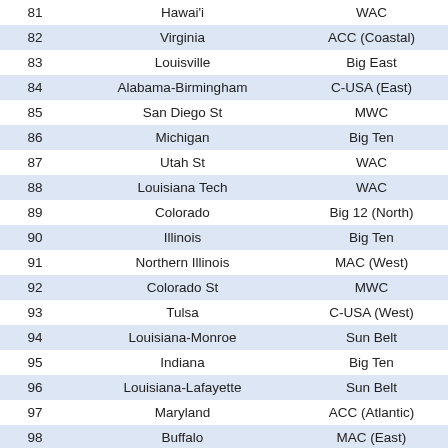| Rank | Team | Conference |
| --- | --- | --- |
| 81 | Hawai'i | WAC |
| 82 | Virginia | ACC (Coastal) |
| 83 | Louisville | Big East |
| 84 | Alabama-Birmingham | C-USA (East) |
| 85 | San Diego St | MWC |
| 86 | Michigan | Big Ten |
| 87 | Utah St | WAC |
| 88 | Louisiana Tech | WAC |
| 89 | Colorado | Big 12 (North) |
| 90 | Illinois | Big Ten |
| 91 | Northern Illinois | MAC (West) |
| 92 | Colorado St | MWC |
| 93 | Tulsa | C-USA (West) |
| 94 | Louisiana-Monroe | Sun Belt |
| 95 | Indiana | Big Ten |
| 96 | Louisiana-Lafayette | Sun Belt |
| 97 | Maryland | ACC (Atlantic) |
| 98 | Buffalo | MAC (East) |
| 99 | Florida Atlantic | Sun Belt |
| 100 | Washington St | Pac-10 |
| 101 | UTEP | C-USA (West) |